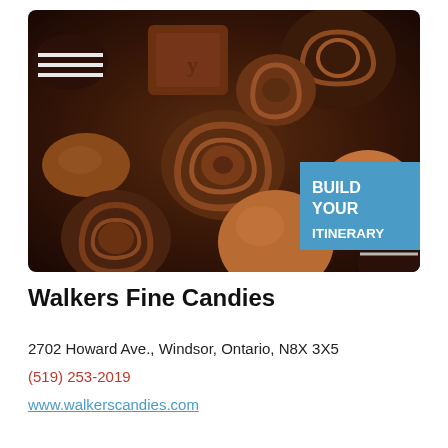[Figure (photo): Close-up photograph of assorted milk chocolate and dark chocolate candies with decorative swirl patterns on top, arranged in a cluster filling the frame. A blue banner overlay in the lower right reads BUILD YOUR ITINERARY.]
Walkers Fine Candies
2702 Howard Ave., Windsor, Ontario, N8X 3X5
(519) 253-2019
www.walkerscandies.com